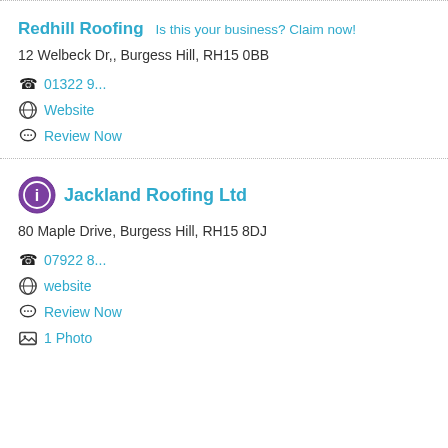Redhill Roofing  Is this your business? Claim now!
12 Welbeck Dr,, Burgess Hill, RH15 0BB
01322 9...
Website
Review Now
Jackland Roofing Ltd
80 Maple Drive, Burgess Hill, RH15 8DJ
07922 8...
website
Review Now
1 Photo